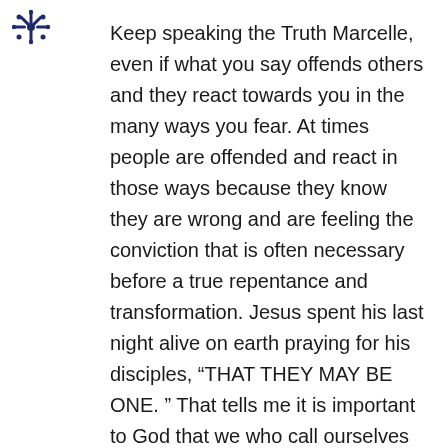[Figure (logo): Small decorative floral/snowflake emblem in dark navy blue, top left corner]
Keep speaking the Truth Marcelle, even if what you say offends others and they react towards you in the many ways you fear. At times people are offended and react in those ways because they know they are wrong and are feeling the conviction that is often necessary before a true repentance and transformation. Jesus spent his last night alive on earth praying for his disciples, “THAT THEY MAY BE ONE. ” That tells me it is important to God that we who call ourselves his disciples are one in Spirit and in Truth, “for the Father is seeking such people to worship him.” Your message is not only important, it is crucial in these days we are living in. Thank you for your loving boldness to speak Truth. The Truth